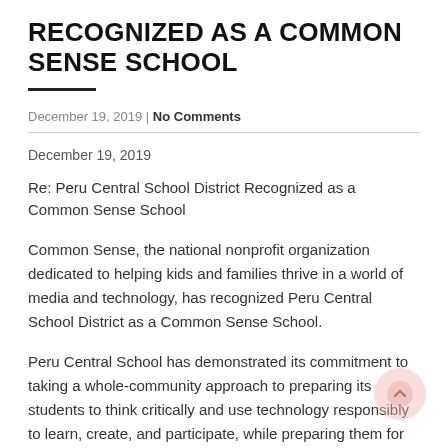RECOGNIZED AS A COMMON SENSE SCHOOL
December 19, 2019 | No Comments
December 19, 2019
Re: Peru Central School District Recognized as a Common Sense School
Common Sense, the national nonprofit organization dedicated to helping kids and families thrive in a world of media and technology, has recognized Peru Central School District as a Common Sense School.
Peru Central School has demonstrated its commitment to taking a whole-community approach to preparing its students to think critically and use technology responsibly to learn, create, and participate, while preparing them for the perils that exist in the